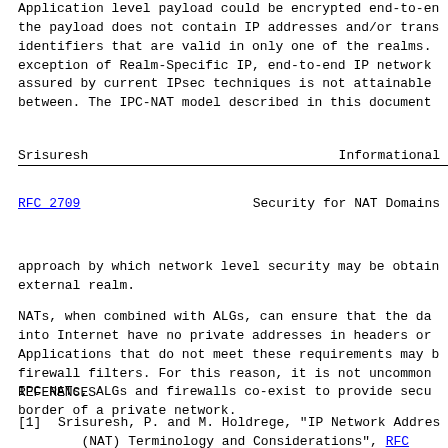Application level payload could be encrypted end-to-en the payload does not contain IP addresses and/or trans identifiers that are valid in only one of the realms. exception of Realm-Specific IP, end-to-end IP network assured by current IPsec techniques is not attainable between. The IPC-NAT model described in this document
Srisuresh                                    Informational
RFC 2709                    Security for NAT Domains
approach by which network level security may be obtain external realm.
NATs, when combined with ALGs, can ensure that the da into Internet have no private addresses in headers or Applications that do not meet these requirements may b firewall filters. For this reason, it is not uncommon IPC-NATs, ALGs and firewalls co-exist to provide secu border of a private network.
REFERENCES
[1]  Srisuresh, P. and M. Holdrege, "IP Network Addres (NAT) Terminology and Considerations", RFC 2663,